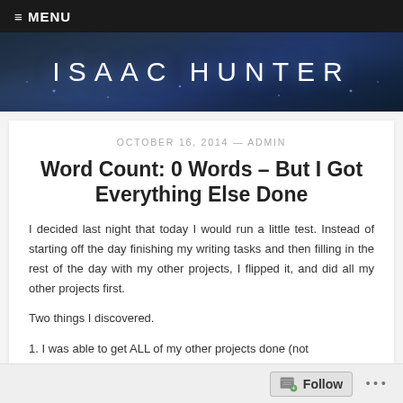≡ MENU
[Figure (illustration): Dark blue banner with 'ISAAC HUNTER' text in large spaced white letters]
OCTOBER 16, 2014 — ADMIN
Word Count: 0 Words – But I Got Everything Else Done
I decided last night that today I would run a little test. Instead of starting off the day finishing my writing tasks and then filling in the rest of the day with my other projects, I flipped it, and did all my other projects first.
Two things I discovered.
1. I was able to get ALL of my other projects done (not
Follow ...